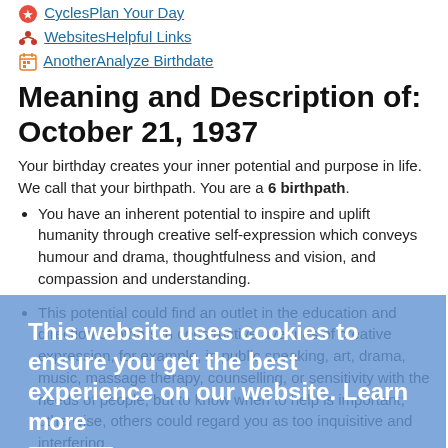CyclesPlan Your Day
WebsitesHelpful Links
AnotherAnalyze Birthdate
Meaning and Description of: October 21, 1937
Your birthday creates your inner potential and purpose in life. We call that your birthpath. You are a 6 birthpath.
You have an inherent potential to inspire and uplift humanity through creative self-expression which conveys humour and drama, thoughtfulness and vision, and compassion and understanding.
This potential could find an outlet in the education and direction of others in constructive avenues of creative expression, for example, in public speaking, art, drama, music, massage therapy, counselling, or sensitivity with the needs of people, but to know when to help is important; otherwise, others could regard you as too inquisitive and interfering.
Your purpose is to shoulder responsibility for the welfare of others, to learn to understand the reasons for the destructive conditions facing humanity, to seek truth and a logical explanation of life, and to develop solutions based on an understanding of human mind. The sense of responsibility you
This website uses cookies to ensure you get the best experience on our website. Learn more